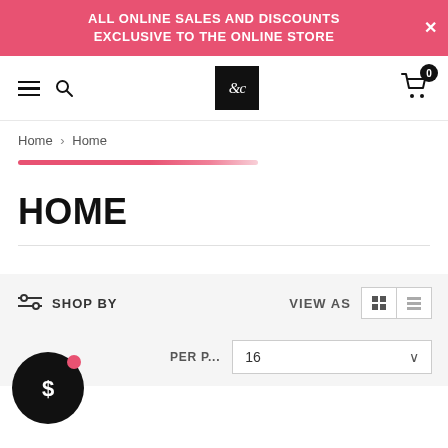ALL ONLINE SALES AND DISCOUNTS EXCLUSIVE TO THE ONLINE STORE
[Figure (screenshot): Navigation bar with hamburger menu, search icon, &C logo, and shopping cart with 0 badge]
Home > Home
[Figure (other): Pink gradient progress bar]
HOME
SHOP BY   VIEW AS
PER P... 16